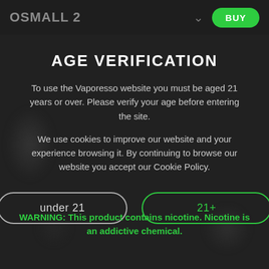OSMALL 2  BUY
AGE VERIFICATION
To use the Vaporesso website you must be aged 21 years or over. Please verify your age before entering the site.
We use cookies to improve our website and your experience browsing it. By continuing to browse our website you accept our Cookie Policy.
under 21
21+
WARNING: This product contains nicotine. Nicotine is an addictive chemical.